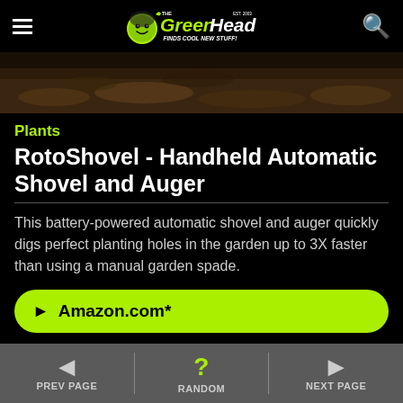The Green Head - Finds Cool New Stuff!
[Figure (photo): Close-up photo of garden soil and mulch/leaves on ground]
Plants
RotoShovel - Handheld Automatic Shovel and Auger
This battery-powered automatic shovel and auger quickly digs perfect planting holes in the garden up to 3X faster than using a manual garden spade.
► Amazon.com*
◄ PREV PAGE   ? RANDOM   ► NEXT PAGE